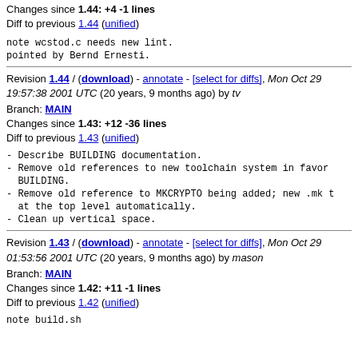Changes since 1.44: +4 -1 lines
Diff to previous 1.44 (unified)
note wcstod.c needs new lint.
pointed by Bernd Ernesti.
Revision 1.44 / (download) - annotate - [select for diffs], Mon Oct 29 19:57:38 2001 UTC (20 years, 9 months ago) by tv
Branch: MAIN
Changes since 1.43: +12 -36 lines
Diff to previous 1.43 (unified)
- Describe BUILDING documentation.
- Remove old references to new toolchain system in favor BUILDING.
- Remove old reference to MKCRYPTO being added; new .mk t at the top level automatically.
- Clean up vertical space.
Revision 1.43 / (download) - annotate - [select for diffs], Mon Oct 29 01:53:56 2001 UTC (20 years, 9 months ago) by mason
Branch: MAIN
Changes since 1.42: +11 -1 lines
Diff to previous 1.42 (unified)
note build.sh